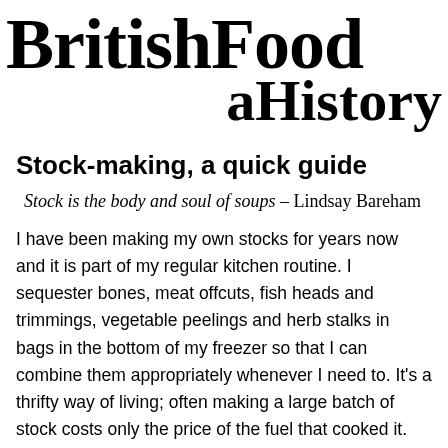BritishFood aHistory
Stock-making, a quick guide
Stock is the body and soul of soups – Lindsay Bareham
I have been making my own stocks for years now and it is part of my regular kitchen routine. I sequester bones, meat offcuts, fish heads and trimmings, vegetable peelings and herb stalks in bags in the bottom of my freezer so that I can combine them appropriately whenever I need to. It's a thrifty way of living; often making a large batch of stock costs only the price of the fuel that cooked it.